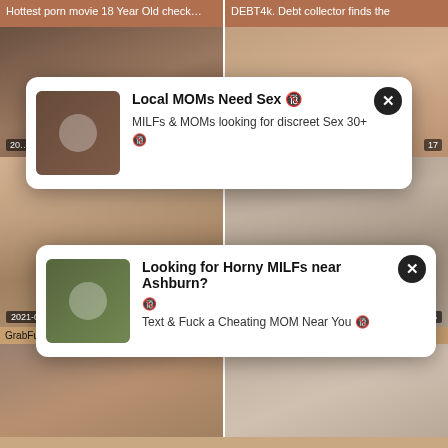Hottest porn movie 18 Year Old check | DEBT4k. Debt collector finds the
[Figure (screenshot): Advertisement popup overlay: Local MOMs Need Sex - MILFs & MOMs looking for discreet Sex 30+ with close button]
[Figure (screenshot): Advertisement popup overlay: Looking for Horny MILFs near Ashburn? Text & Fuck a Cheating MOM Near You with close button]
[Figure (photo): Video thumbnail dated 2021-03-07, duration 19:23]
GrabFuck – step cousin's friend fucked
[Figure (photo): Video thumbnail dated 2021-04-15, duration 10:15]
Private.com - Schoolgirl Haley Hill Eats
[Figure (photo): Video thumbnail bottom left partial]
[Figure (photo): Video thumbnail bottom right partial]